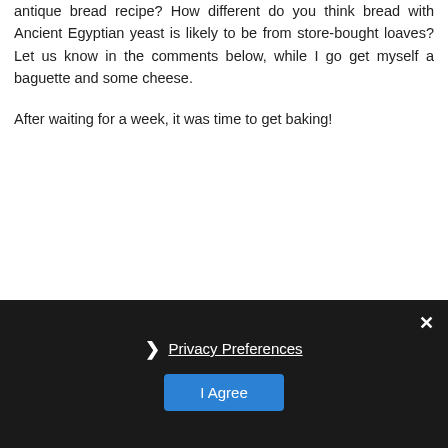antique bread recipe? How different do you think bread with Ancient Egyptian yeast is likely to be from store-bought loaves? Let us know in the comments below, while I go get myself a baguette and some cheese.
After waiting for a week, it was time to get baking!
Privacy Preferences | I Agree